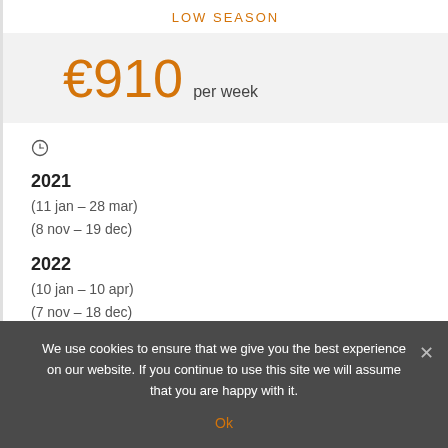LOW SEASON
€910 per week
2021
(11 jan – 28 mar)
(8 nov – 19 dec)
2022
(10 jan – 10 apr)
(7 nov – 18 dec)
We use cookies to ensure that we give you the best experience on our website. If you continue to use this site we will assume that you are happy with it.
Ok